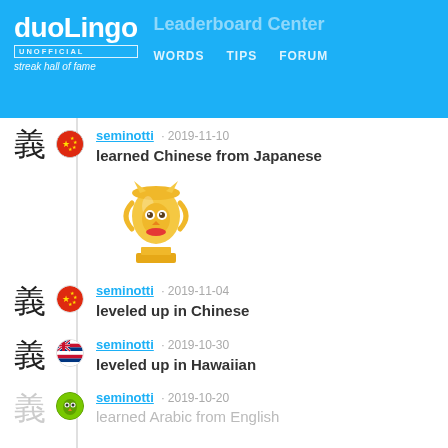duolingo UNOFFICIAL streak hall of fame — WORDS  TIPS  FORUM
seminotti · 2019-11-10 learned Chinese from Japanese
[Figure (illustration): Duolingo golden owl trophy mascot on a pedestal]
seminotti · 2019-11-04 leveled up in Chinese
seminotti · 2019-10-30 leveled up in Hawaiian
seminotti · 2019-10-20 learned Arabic from English